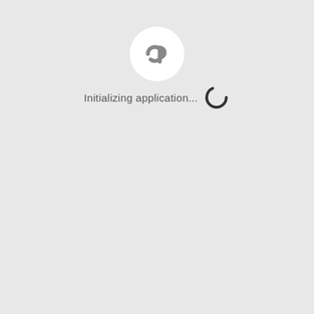[Figure (logo): Circular white logo with dark 'cp' symbol inside on a light gray background]
Initializing application...